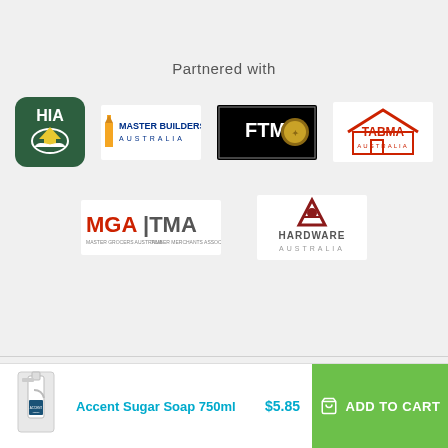Partnered with
[Figure (logo): HIA logo - green rounded square with hands holding a house, yellow bird]
[Figure (logo): Master Builders Australia logo - orange/yellow building icon with blue and orange text]
[Figure (logo): FTMA logo - black rectangle with FTMA text and gold/brown emblem]
[Figure (logo): TABMA Australia logo - red house outline with TABMA text in red]
[Figure (logo): MGA|TMA logo - red MGA and grey TMA text with small subtitle text]
[Figure (logo): Hardware Australia logo - dark red A with tools icon and Hardware Australia text]
© Mitre 10 Australia Pty. Ltd., All Rights Reserved
[Figure (photo): Accent Sugar Soap 750ml spray bottle product image]
Accent Sugar Soap 750ml
$5.85
ADD TO CART